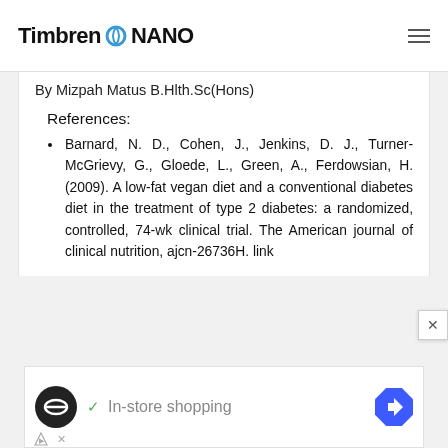Timbren NANO
By Mizpah Matus B.Hlth.Sc(Hons)
References:
Barnard, N. D., Cohen, J., Jenkins, D. J., Turner-McGrievy, G., Gloede, L., Green, A., Ferdowsian, H. (2009). A low-fat vegan diet and a conventional diabetes diet in the treatment of type 2 diabetes: a randomized, controlled, 74-wk clinical trial. The American journal of clinical nutrition, ajcn-26736H. link
[Figure (other): Advertisement banner showing in-store shopping with a circular logo icon, checkmark, text, and navigation arrow icon, with small ad disclosure icons below]